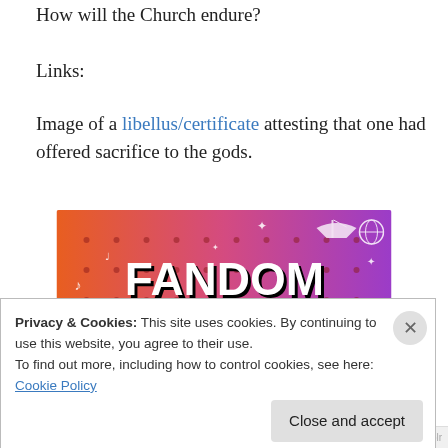How will the Church endure?
Links:
Image of a libellus/certificate attesting that one had offered sacrifice to the gods.
[Figure (illustration): Fandom on Tumblr promotional banner image with colorful orange-to-purple gradient background and white doodle icons, featuring bold text 'FANDOM ON tumblr']
Privacy & Cookies: This site uses cookies. By continuing to use this website, you agree to their use.
To find out more, including how to control cookies, see here: Cookie Policy
Close and accept